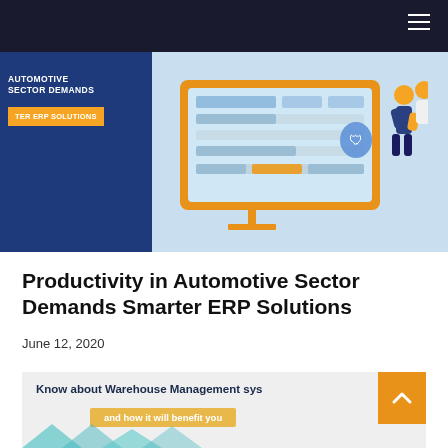[Figure (illustration): Blog header image for Productivity in Automotive Sector Demands Smarter ERP Solutions — dark blue left panel with white text 'AUTOMOTIVE SECTOR DEMANDS' and orange button 'TER ERP SOLUTIONS', right panel light blue with a monitor/computer infographic illustration and figures]
Productivity in Automotive Sector Demands Smarter ERP Solutions
June 12, 2020
[Figure (infographic): Know about Warehouse Management sys[tems] and how it will benefit you — grey background card with dark blue bold text, yellow-orange sub-button, orange up-arrow button on right, teal triangles at bottom]